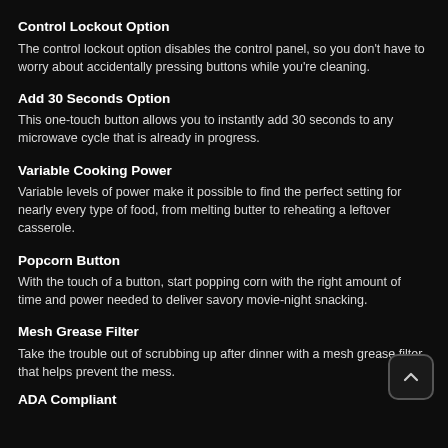Control Lockout Option
The control lockout option disables the control panel, so you don't have to worry about accidentally pressing buttons while you're cleaning.
Add 30 Seconds Option
This one-touch button allows you to instantly add 30 seconds to any microwave cycle that is already in progress.
Variable Cooking Power
Variable levels of power make it possible to find the perfect setting for nearly every type of food, from melting butter to reheating a leftover casserole.
Popcorn Button
With the touch of a button, start popping corn with the right amount of time and power needed to deliver savory movie-night snacking.
Mesh Grease Filter
Take the trouble out of scrubbing up after dinner with a mesh grease filter that helps prevent the mess.
ADA Compliant